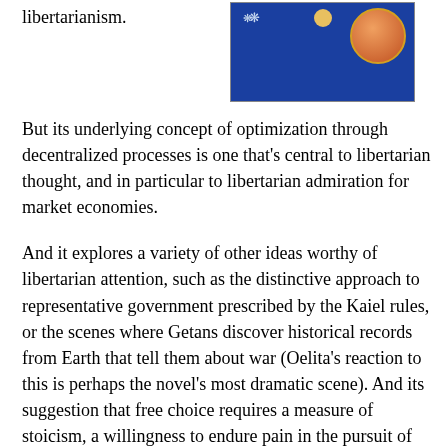libertarianism.
[Figure (photo): A photograph of what appears to be a blue-boxed medal or coin with a maple leaf icon and a circular gold/orange medal or portrait visible in the top right area.]
But its underlying concept of optimization through decentralized processes is one that's central to libertarian thought, and in particular to libertarian admiration for market economies.
And it explores a variety of other ideas worthy of libertarian attention, such as the distinctive approach to representative government prescribed by the Kaiel rules, or the scenes where Getans discover historical records from Earth that tell them about war (Oelita's reaction to this is perhaps the novel's most dramatic scene). And its suggestion that free choice requires a measure of stoicism, a willingness to endure pain in the pursuit of one's goals, is provocative.